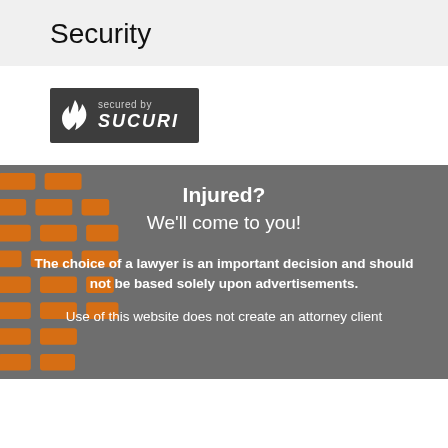Security
[Figure (logo): Sucuri security badge - dark background with flame icon, 'secured by' text and 'SUCURI' logo in white]
Injured?
We'll come to you!
The choice of a lawyer is an important decision and should not be based solely upon advertisements.
Use of this website does not create an attorney client